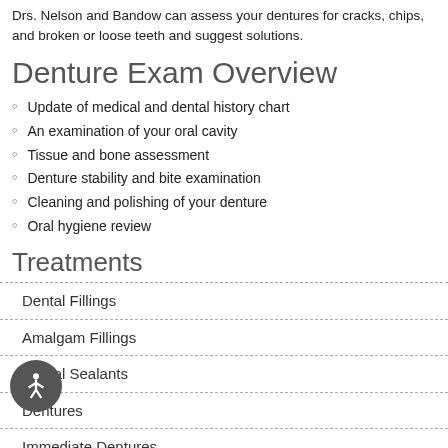Drs. Nelson and Bandow can assess your dentures for cracks, chips, and broken or loose teeth and suggest solutions.
Denture Exam Overview
Update of medical and dental history chart
An examination of your oral cavity
Tissue and bone assessment
Denture stability and bite examination
Cleaning and polishing of your denture
Oral hygiene review
Treatments
Dental Fillings
Amalgam Fillings
Dental Sealants
Dentures
Immediate Dentures